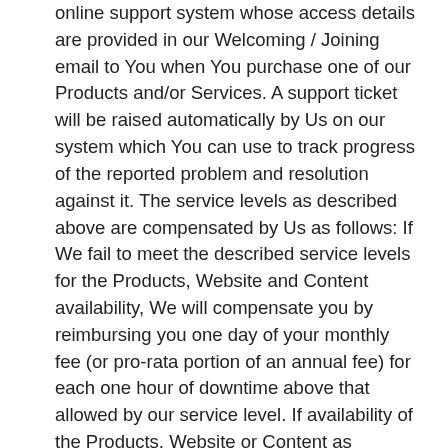online support system whose access details are provided in our Welcoming / Joining email to You when You purchase one of our Products and/or Services. A support ticket will be raised automatically by Us on our system which You can use to track progress of the reported problem and resolution against it. The service levels as described above are compensated by Us as follows: If We fail to meet the described service levels for the Products, Website and Content availability, We will compensate you by reimbursing you one day of your monthly fee (or pro-rata portion of an annual fee) for each one hour of downtime above that allowed by our service level. If availability of the Products, Website or Content as described in this clause is lower than 75% in any 3 month (90 day) period You shall be able to terminate Your open4mgt account and contract with immediate effect.
3.8 We undertake to make a first response to any query You may raise through defined communication channels in